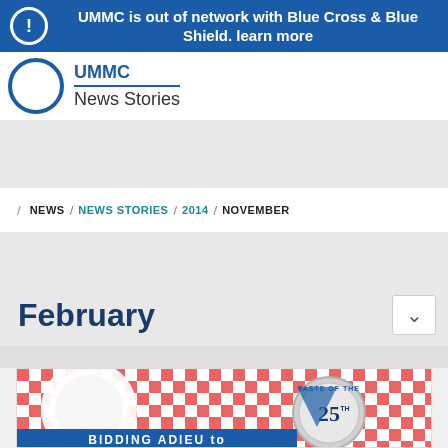UMMC is out of network with Blue Cross & Blue Shield. learn more
News Stories
/ NEWS / NEWS STORIES / 2014 / NOVEMBER
February
[Figure (photo): Taste of the 25th anniversary event promotional image with red and white checkered tablecloth background, a white plate, a silver medallion reading 'Taste of the 25th', and blue banner text reading 'BIDDING ADIEU to']